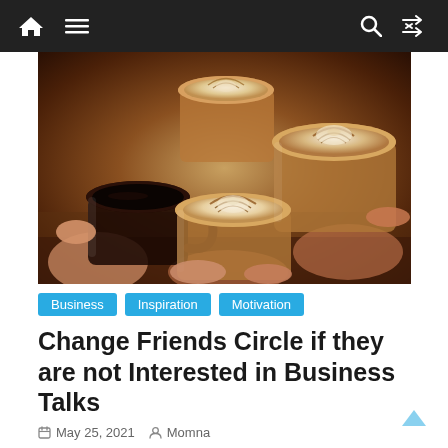Navigation bar with home, menu, search, and shuffle icons
[Figure (photo): Several hands holding glass coffee cups with latte art toasting together, one black coffee, others with white foam art, warm tones]
Business   Inspiration   Motivation
Change Friends Circle if they are not Interested in Business Talks
May 25, 2021   Momna
Social Learning Theory and Friends Circle Why do you need to change friends if they are not talking about business...